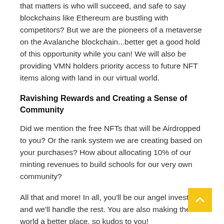that matters is who will succeed, and safe to say blockchains like Ethereum are bustling with competitors? But we are the pioneers of a metaverse on the Avalanche blockchain...better get a good hold of this opportunity while you can! We will also be providing VMN holders priority access to future NFT items along with land in our virtual world.
Ravishing Rewards and Creating a Sense of Community
Did we mention the free NFTs that will be Airdropped to you? Or the rank system we are creating based on your purchases? How about allocating 10% of our minting revenues to build schools for our very own community?
All that and more! In all, you'll be our angel investors, and we'll handle the rest. You are also making the world a better place, so kudos to you!